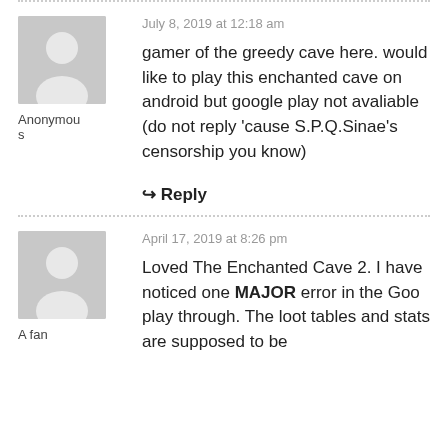July 8, 2019 at 12:18 am
gamer of the greedy cave here. would like to play this enchanted cave on android but google play not avaliable
(do not reply 'cause S.P.Q.Sinae's censorship you know)
Anonymous
↳ Reply
April 17, 2019 at 8:26 pm
Loved The Enchanted Cave 2. I have noticed one MAJOR error in the Goo play through. The loot tables and stats are supposed to be
A fan